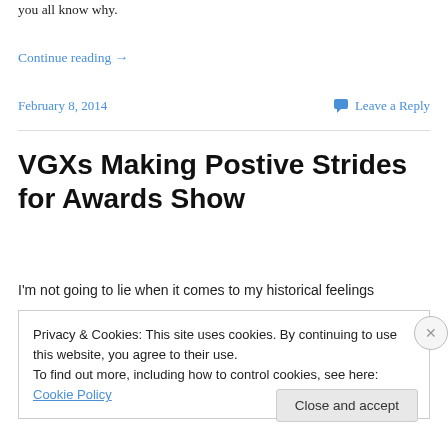you all know why.
Continue reading →
February 8, 2014
Leave a Reply
VGXs Making Postive Strides for Awards Show
I'm not going to lie when it comes to my historical feelings
Privacy & Cookies: This site uses cookies. By continuing to use this website, you agree to their use.
To find out more, including how to control cookies, see here: Cookie Policy
Close and accept